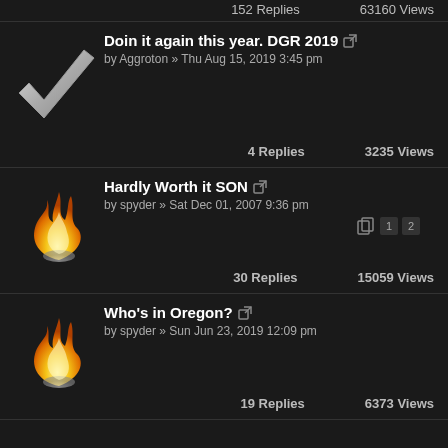152 Replies   63160 Views
Doin it again this year. DGR 2019 by Aggroton » Thu Aug 15, 2019 3:45 pm | 4 Replies 3235 Views
Hardly Worth it SON by spyder » Sat Dec 01, 2007 9:36 pm | 30 Replies 15059 Views
Who's in Oregon? by spyder » Sun Jun 23, 2019 12:09 pm | 19 Replies 6373 Views